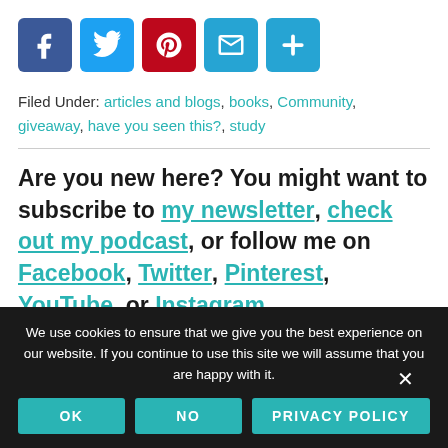[Figure (infographic): Row of social share icon buttons: Facebook (blue), Twitter (light blue), Pinterest (red), Email (teal), Share/Plus (teal)]
Filed Under: articles and blogs, books, Community, giveaway, have you seen this?, study
Are you new here? You might want to subscribe to my newsletter, check out my podcast, or follow me on Facebook, Twitter, Pinterest, YouTube, or Instagram.
We use cookies to ensure that we give you the best experience on our website. If you continue to use this site we will assume that you are happy with it.
OK   NO   PRIVACY POLICY